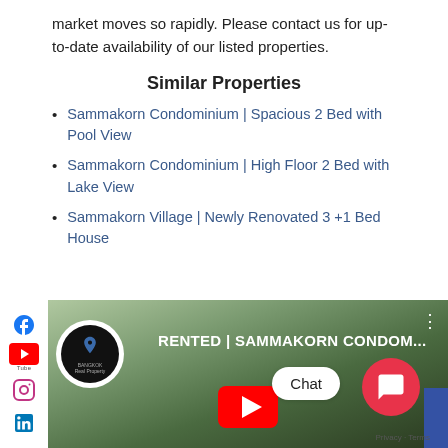market moves so rapidly. Please contact us for up-to-date availability of our listed properties.
Similar Properties
Sammakorn Condominium | Spacious 2 Bed with Pool View
Sammakorn Condominium | High Floor 2 Bed with Lake View
Sammakorn Village | Newly Renovated 3 +1 Bed House
[Figure (screenshot): Video thumbnail for 'RENTED | SAMMAKORN CONDOM...' with Bangkok Real Property channel logo, social media sidebar icons (Facebook, YouTube, Instagram, LinkedIn), chat button, and play button overlay.]